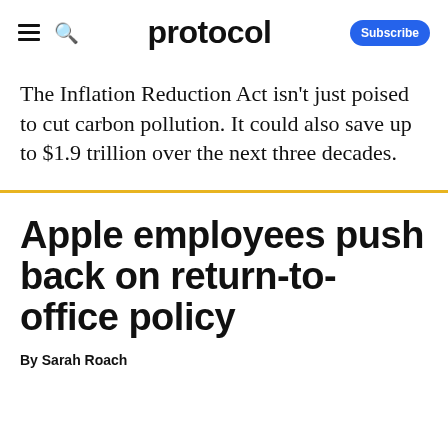protocol
The Inflation Reduction Act isn't just poised to cut carbon pollution. It could also save up to $1.9 trillion over the next three decades.
Apple employees push back on return-to-office policy
By Sarah Roach